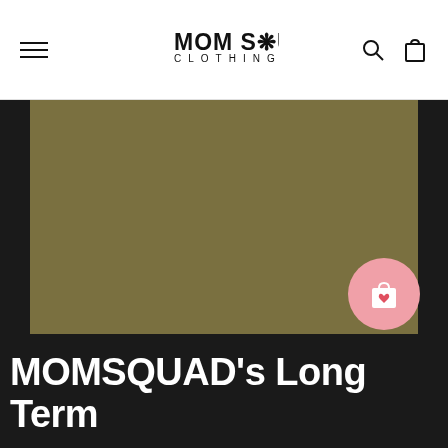MOM SQUAD CLOTHING — navigation bar with hamburger menu, logo, search and cart icons
[Figure (photo): Large olive/khaki-colored product image placeholder, solid dark-yellow-green background filling most of the center area]
[Figure (other): Pink circular floating cart button with shopping bag and heart icon, positioned bottom-right of product image]
MOMSQUAD's Long Term